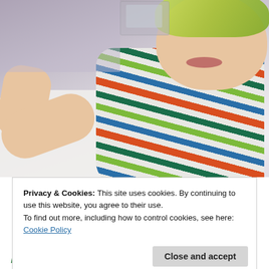[Figure (photo): Close-up photo of a baby/toddler lying down, wearing a colorful striped orange, blue, green and white shirt, on white fabric/bedding. The baby's face is partially visible at top, showing a smile.]
Privacy & Cookies: This site uses cookies. By continuing to use this website, you agree to their use.
To find out more, including how to control cookies, see here:
Cookie Policy
Close and accept
my 4 yr old nephew.